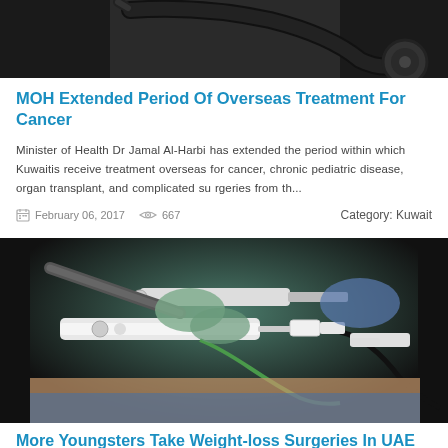[Figure (photo): Close-up photo of a stethoscope on dark background]
MOH Extended Period Of Overseas Treatment For Cancer
Minister of Health Dr Jamal Al-Harbi has extended the period within which Kuwaitis receive treatment overseas for cancer, chronic pediatric disease, organ transplant, and complicated surgeries from th...
February 06, 2017  667  Category: Kuwait
[Figure (photo): Photo of laparoscopic surgical instruments being used on a patient]
More Youngsters Take Weight-loss Surgeries In UAE